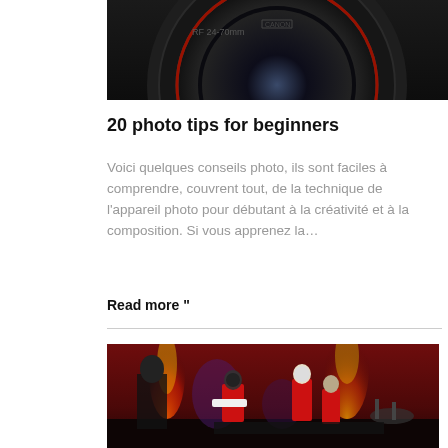[Figure (photo): Close-up of a camera lens on dark background, bottom portion visible]
20 photo tips for beginners
Voici quelques conseils photo, ils sont faciles à comprendre, couvrent tout, de la technique de l'appareil photo pour débutant à la créativité et à la composition. Si vous apprenez la…
Read more "
[Figure (photo): Concert photo showing band members in red jumpsuits with masks on stage with fire and dramatic lighting]
Concert photographer: 10 things to know
Comment devient-on photographe de concert ? J'ai
[Figure (screenshot): Language selector popup showing English flag and 'English' label]